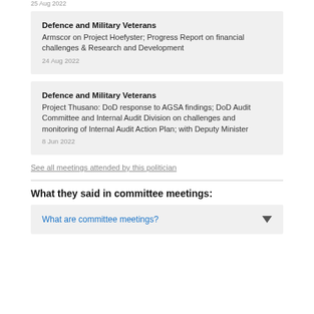25 Aug 2022
Defence and Military Veterans
Armscor on Project Hoefyster; Progress Report on financial challenges & Research and Development
24 Aug 2022
Defence and Military Veterans
Project Thusano: DoD response to AGSA findings; DoD Audit Committee and Internal Audit Division on challenges and monitoring of Internal Audit Action Plan; with Deputy Minister
8 Jun 2022
See all meetings attended by this politician
What they said in committee meetings:
What are committee meetings?